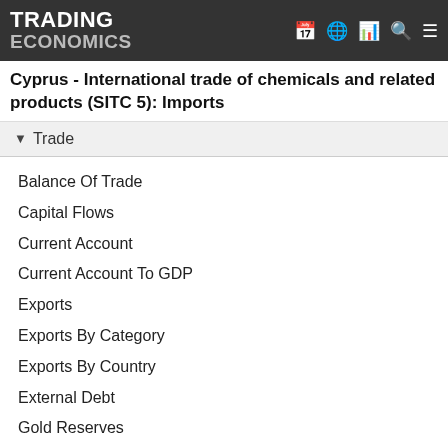TRADING ECONOMICS
Cyprus - International trade of chemicals and related products (SITC 5): Imports
Trade
Balance Of Trade
Capital Flows
Current Account
Current Account To GDP
Exports
Exports By Category
Exports By Country
External Debt
Gold Reserves
Imports
Imports By Category
Imports By Country
Remittances
Terrorism Index
Tourism Revenues